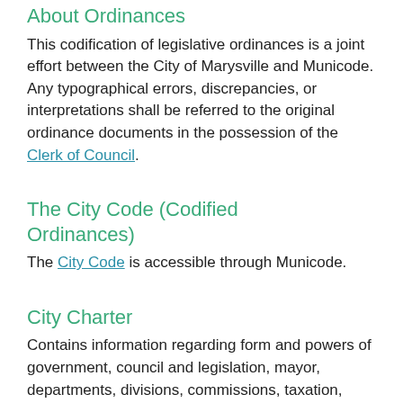About Ordinances
This codification of legislative ordinances is a joint effort between the City of Marysville and Municode. Any typographical errors, discrepancies, or interpretations shall be referred to the original ordinance documents in the possession of the Clerk of Council.
The City Code (Codified Ordinances)
The City Code is accessible through Municode.
City Charter
Contains information regarding form and powers of government, council and legislation, mayor, departments, divisions, commissions, taxation, debt, and finance.